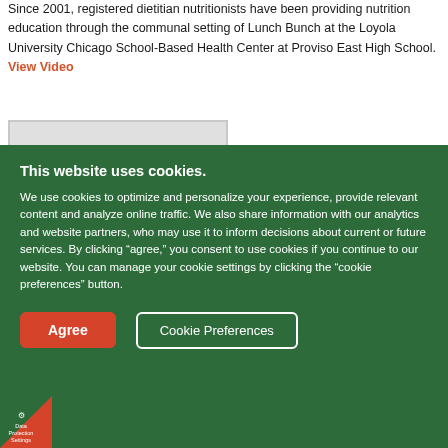Since 2001, registered dietitian nutritionists have been providing nutrition education through the communal setting of Lunch Bunch at the Loyola University Chicago School-Based Health Center at Proviso East High School. View Video
[Figure (photo): Thumbnail image placeholder (light gray rectangle)]
This website uses cookies.
We use cookies to optimize and personalize your experience, provide relevant content and analyze online traffic. We also share information with our analytics and website partners, who may use it to inform decisions about current or future services. By clicking “agree,” you consent to use cookies if you continue to our website. You can manage your cookie settings by clicking the “cookie preferences” button.
Agree | Cookie Preferences
[Figure (logo): Data Protection Settings badge — red triangle in bottom-left corner with gear icon and small text]